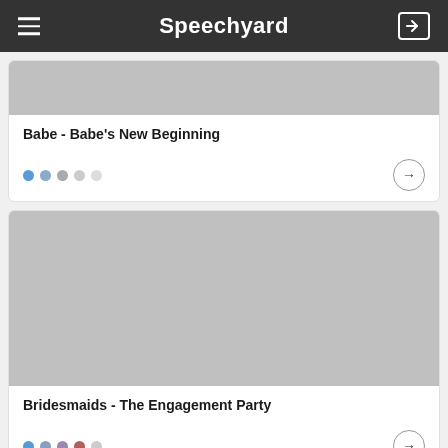Speechyard
[Figure (photo): Gray placeholder image for Babe card]
Babe - Babe's New Beginning
[Figure (photo): Gray placeholder image for Bridesmaids card]
Bridesmaids - The Engagement Party
[Figure (photo): Gray placeholder image for third card (partially visible)]